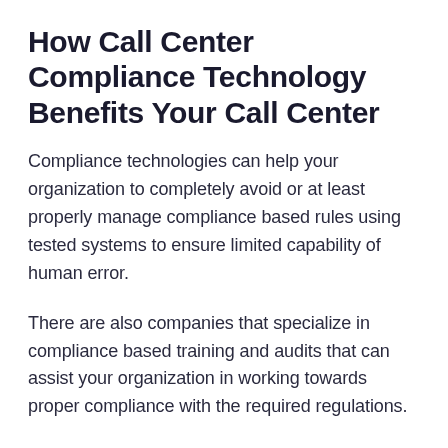How Call Center Compliance Technology Benefits Your Call Center
Compliance technologies can help your organization to completely avoid or at least properly manage compliance based rules using tested systems to ensure limited capability of human error.
There are also companies that specialize in compliance based training and audits that can assist your organization in working towards proper compliance with the required regulations.
Lack of compliance has cost contact centers billions over the last few years, so the technology can pay for